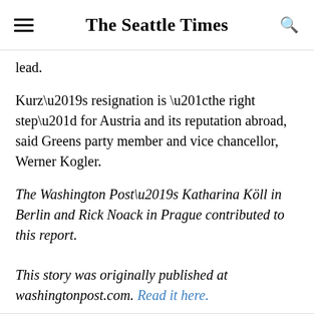The Seattle Times
lead.
Kurz’s resignation is “the right step” for Austria and its reputation abroad, said Greens party member and vice chancellor, Werner Kogler.
The Washington Post’s Katharina Köll in Berlin and Rick Noack in Prague contributed to this report.
This story was originally published at washingtonpost.com. Read it here.